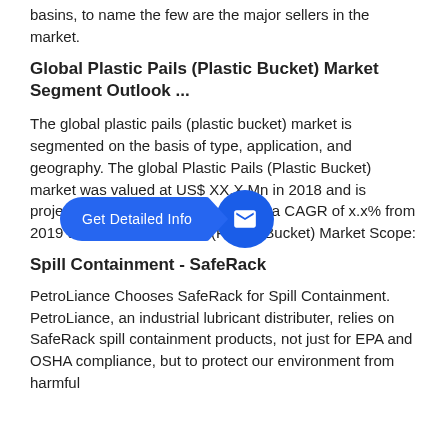basins, to name the few are the major sellers in the market.
Global Plastic Pails (Plastic Bucket) Market Segment Outlook ...
The global plastic pails (plastic bucket) market is segmented on the basis of type, application, and geography. The global Plastic Pails (Plastic Bucket) market was valued at US$ XX.X Mn in 2018 and is projected to increase significantly at a CAGR of x.x% from 2019 to 2027. Plastic Pails (Plastic Bucket) Market Scope:
Spill Containment - SafeRack
PetroLiance Chooses SafeRack for Spill Containment. PetroLiance, an industrial lubricant distributer, relies on SafeRack spill containment products, not just for EPA and OSHA compliance, but to protect our environment from harmful